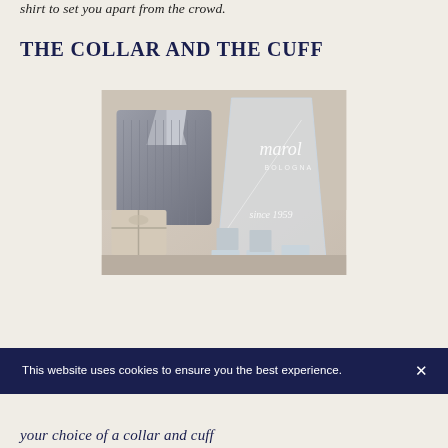shirt to set you apart from the crowd.
THE COLLAR AND THE CUFF
[Figure (photo): A folded dress shirt with a striped pattern alongside a transparent glass award/plaque etched with 'marol BOLOGNA since 1959', displayed with small decorative boxes and gift-wrapped packages on a shelf.]
This website uses cookies to ensure you the best experience. ×
your choice of a collar and cuff